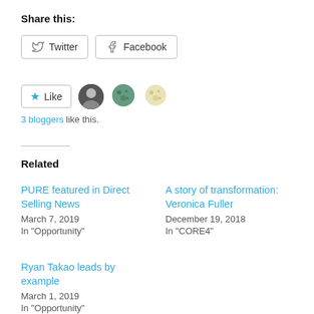Share this:
Twitter   Facebook
Like   [avatars]   3 bloggers like this.
Related
PURE featured in Direct Selling News
March 7, 2019
In "Opportunity"
A story of transformation: Veronica Fuller
December 19, 2018
In "CORE4"
Ryan Takao leads by example
March 1, 2019
In "Opportunity"